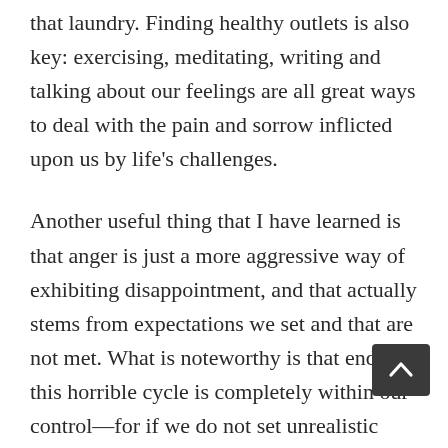that laundry. Finding healthy outlets is also key: exercising, meditating, writing and talking about our feelings are all great ways to deal with the pain and sorrow inflicted upon us by life's challenges.
Another useful thing that I have learned is that anger is just a more aggressive way of exhibiting disappointment, and that actually stems from expectations we set and that are not met. What is noteworthy is that ending this horrible cycle is completely within our control—for if we do not set unrealistic expectations upon others we are far less likely to be disappointed and/or angry. Trust me, it is a far healthier way to live.